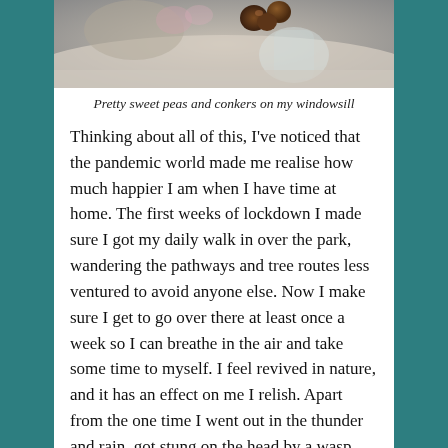[Figure (photo): Close-up photo of sweet peas and conkers on a windowsill, blurred/bokeh background]
Pretty sweet peas and conkers on my windowsill
Thinking about all of this, I've noticed that the pandemic world made me realise how much happier I am when I have time at home. The first weeks of lockdown I made sure I got my daily walk in over the park, wandering the pathways and tree routes less ventured to avoid anyone else. Now I make sure I get to go over there at least once a week so I can breathe in the air and take some time to myself. I feel revived in nature, and it has an effect on me I relish. Apart from the one time I went out in the thunder and rain, got stung on the head by a wasp and had the worst headache of my life for over a day. I am probably my happiest now when I have a day pottering about the house and take time